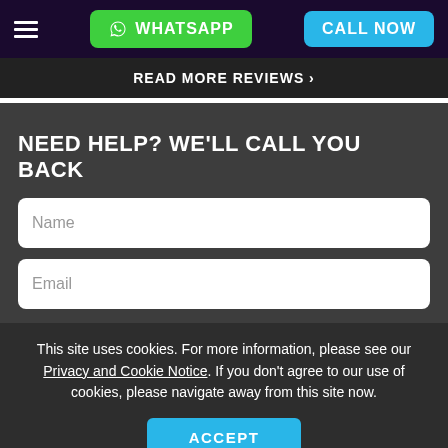WHATSAPP | CALL NOW
READ MORE REVIEWS >
NEED HELP? WE'LL CALL YOU BACK
Name
Email
This site uses cookies. For more information, please see our Privacy and Cookie Notice. If you don't agree to our use of cookies, please navigate away from this site now.
ACCEPT